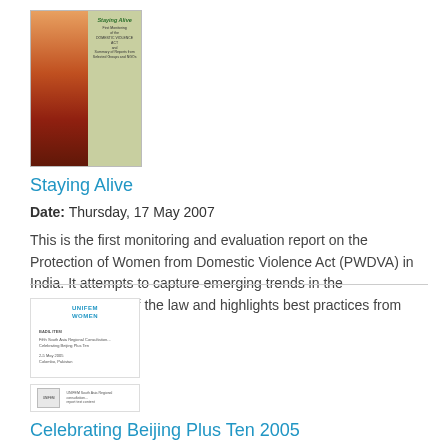[Figure (illustration): Book cover of 'Staying Alive' with decorative artwork on left side and green/cream cover panel on right with title text]
Staying Alive
Date: Thursday, 17 May 2007
This is the first monitoring and evaluation report on the Protection of Women from Domestic Violence Act (PWDVA) in India. It attempts to capture emerging trends in the implementation of the law and highlights best practices from different states.
[Figure (screenshot): Document thumbnail showing UNIFEM Women logo and document metadata text including title, date, and location details]
[Figure (screenshot): Small document thumbnail with logo and brief text content]
Celebrating Beijing Plus Ten 2005